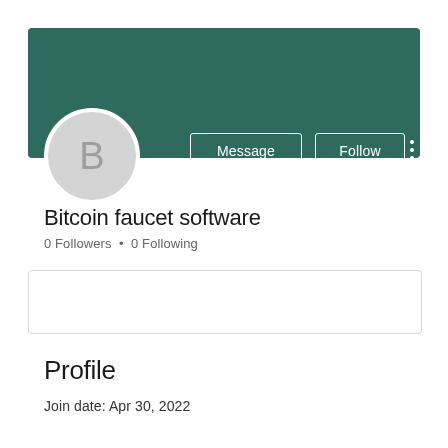[Figure (screenshot): User profile banner in dark teal/green color with avatar placeholder showing letter B, Message and Follow buttons, and three-dot menu]
Bitcoin faucet software
0 Followers • 0 Following
Profile
Join date: Apr 30, 2022